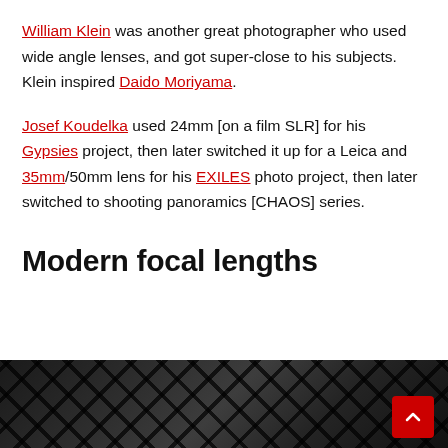William Klein was another great photographer who used wide angle lenses, and got super-close to his subjects. Klein inspired Daido Moriyama.
Josef Koudelka used 24mm [on a film SLR] for his Gypsies project, then later switched it up for a Leica and 35mm/50mm lens for his EXILES photo project, then later switched to shooting panoramics [CHAOS] series.
Modern focal lengths
[Figure (photo): Dark black and white photograph showing a diamond/chain-link fence pattern, close-up abstract shot]